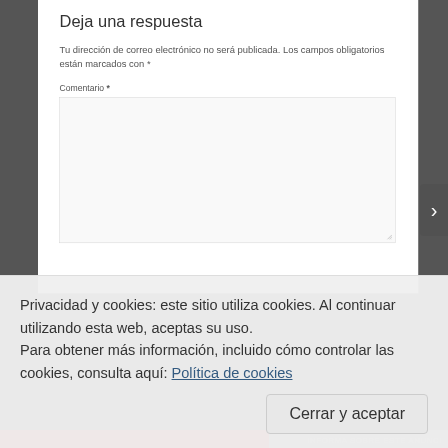Deja una respuesta
Tu dirección de correo electrónico no será publicada. Los campos obligatorios están marcados con *
Comentario *
[Figure (screenshot): Empty comment textarea input box with resize handle]
Privacidad y cookies: este sitio utiliza cookies. Al continuar utilizando esta web, aceptas su uso.
Para obtener más información, incluido cómo controlar las cookies, consulta aquí: Política de cookies
Cerrar y aceptar